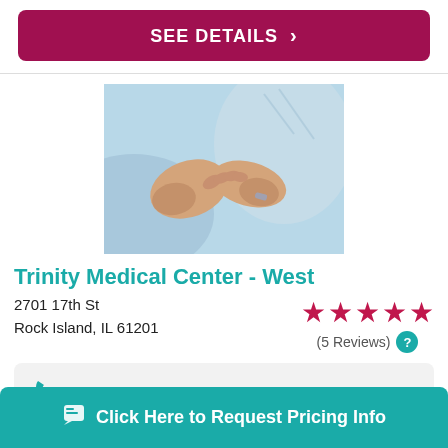SEE DETAILS >
[Figure (photo): Two people holding hands, one wearing a light blue shirt and the other in a hospital gown, suggesting a caregiver-patient relationship]
Trinity Medical Center - West
2701 17th St
Rock Island, IL 61201
★★★★★ (5 Reviews)
1-855-221-7955
Click Here to Request Pricing Info